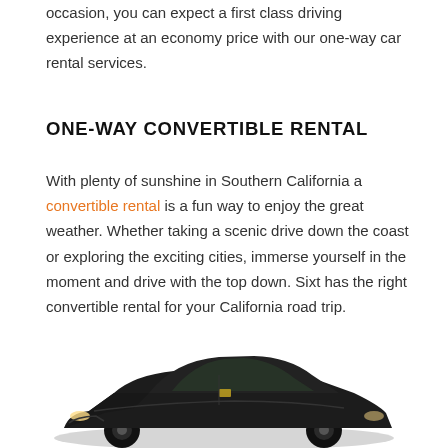occasion, you can expect a first class driving experience at an economy price with our one-way car rental services.
ONE-WAY CONVERTIBLE RENTAL
With plenty of sunshine in Southern California a convertible rental is a fun way to enjoy the great weather. Whether taking a scenic drive down the coast or exploring the exciting cities, immerse yourself in the moment and drive with the top down. Sixt has the right convertible rental for your California road trip.
[Figure (photo): Black Chevrolet Camaro convertible car viewed from the front-left angle on a white background]